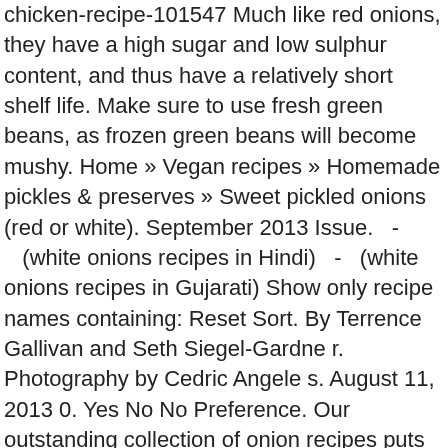chicken-recipe-101547 Much like red onions, they have a high sugar and low sulphur content, and thus have a relatively short shelf life. Make sure to use fresh green beans, as frozen green beans will become mushy. Home » Vegan recipes » Homemade pickles & preserves » Sweet pickled onions (red or white). September 2013 Issue.   -   (white onions recipes in Hindi)   -   (white onions recipes in Gujarati) Show only recipe names containing: Reset Sort. By Terrence Gallivan and Seth Siegel-Gardne r. Photography by Cedric Angele s. August 11, 2013 0. Yes No No Preference. Our outstanding collection of onion recipes puts the onion centre stage, including Shaun Rankin's asparagus and red onion tarts, Adam Gray's steamed mutton and onion suet pudding, and Kevin Mangeolles' onion bread. View comments . White Onion Chutney Recipes 28,794 Recipes. recipes. There are many onions out there, each with their different purposes, but typically they fit into two categories, green and dry onions. Red onions are particularly good raw in many of the same places as their white cousins. I blanch for 2 minutes